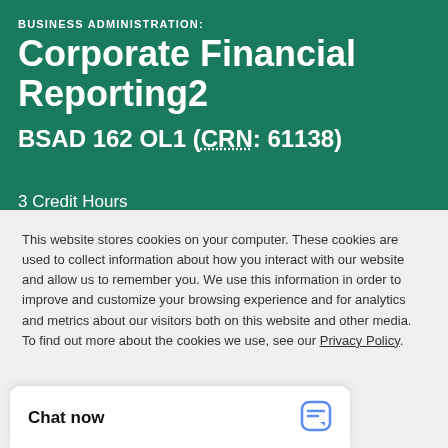BUSINESS ADMINISTRATION: Corporate Financial Reporting2
BSAD 162 OL1 (CRN: 61138)
3 Credit Hours
This website stores cookies on your computer. These cookies are used to collect information about how you interact with our website and allow us to remember you. We use this information in order to improve and customize your browsing experience and for analytics and metrics about our visitors both on this website and other media. To find out more about the cookies we use, see our Privacy Policy.
ACCEPT
Chat now